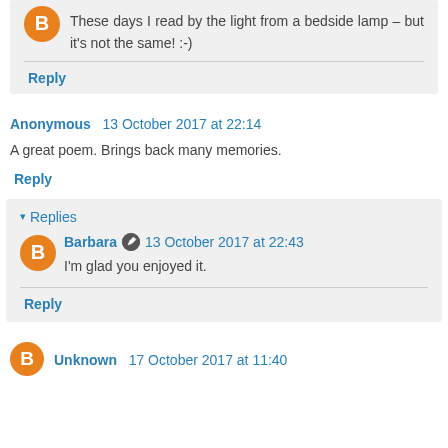These days I read by the light from a bedside lamp – but it's not the same! :-)
Reply
Anonymous  13 October 2017 at 22:14
A great poem. Brings back many memories.
Reply
Replies
Barbara  13 October 2017 at 22:43
I'm glad you enjoyed it.
Reply
Unknown  17 October 2017 at 11:40